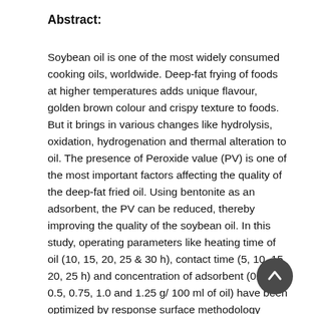Abstract:
Soybean oil is one of the most widely consumed cooking oils, worldwide. Deep-fat frying of foods at higher temperatures adds unique flavour, golden brown colour and crispy texture to foods. But it brings in various changes like hydrolysis, oxidation, hydrogenation and thermal alteration to oil. The presence of Peroxide value (PV) is one of the most important factors affecting the quality of the deep-fat fried oil. Using bentonite as an adsorbent, the PV can be reduced, thereby improving the quality of the soybean oil. In this study, operating parameters like heating time of oil (10, 15, 20, 25 & 30 h), contact time (5, 10, 15, 20, 25 h) and concentration of adsorbent (0.25, 0.5, 0.75, 1.0 and 1.25 g/ 100 ml of oil) have been optimized by response surface methodology (RSM) considering percentage reduction of PV as a response.